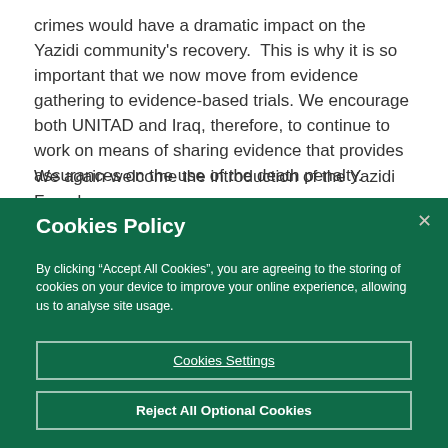crimes would have a dramatic impact on the Yazidi community's recovery.  This is why it is so important that we now move from evidence gathering to evidence-based trials. We encourage both UNITAD and Iraq, therefore, to continue to work on means of sharing evidence that provides assurances on the use of the death penalty.
We again welcome the introduction of the Yazidi Female
Cookies Policy
By clicking “Accept All Cookies”, you are agreeing to the storing of cookies on your device to improve your online experience, allowing us to analyse site usage.
Cookies Settings
Reject All Optional Cookies